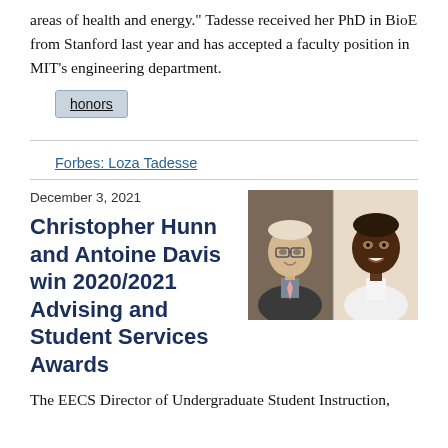areas of health and energy." Tadesse received her PhD in BioE from Stanford last year and has accepted a faculty position in MIT's engineering department.
honors
Forbes: Loza Tadesse
December 3, 2021
Christopher Hunn and Antoine Davis win 2020/2021 Advising and Student Services Awards
[Figure (photo): Photo of two men smiling: one with glasses and light complexion wearing a blazer with pink tie, and one with darker complexion wearing a white shirt.]
The EECS Director of Undergraduate Student Instruction,